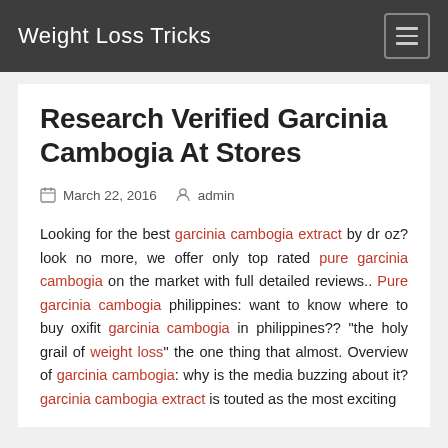Weight Loss Tricks
Research Verified Garcinia Cambogia At Stores
March 22, 2016   admin
Looking for the best garcinia cambogia extract by dr oz? look no more, we offer only top rated pure garcinia cambogia on the market with full detailed reviews.. Pure garcinia cambogia philippines: want to know where to buy oxifit garcinia cambogia in philippines?? "the holy grail of weight loss" the one thing that almost. Overview of garcinia cambogia: why is the media buzzing about it? garcinia cambogia extract is touted as the most exciting